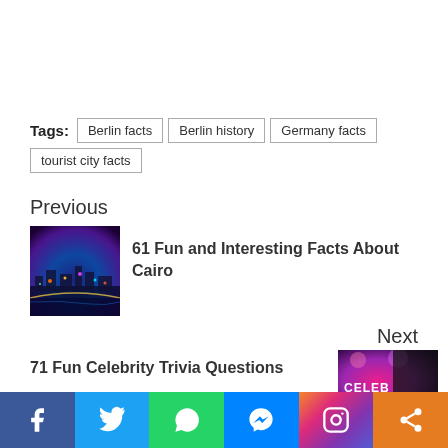Tags: Berlin facts  Berlin history  Germany facts  tourist city facts
Previous
[Figure (photo): Aerial night photo of Cairo city with colorful lights and a river]
61 Fun and Interesting Facts About Cairo
Next
71 Fun Celebrity Trivia Questions
[Figure (photo): Thumbnail image with pink/purple background and text 'CELEB']
Social share bar: Facebook, Twitter, WhatsApp, Messenger, Instagram, Share